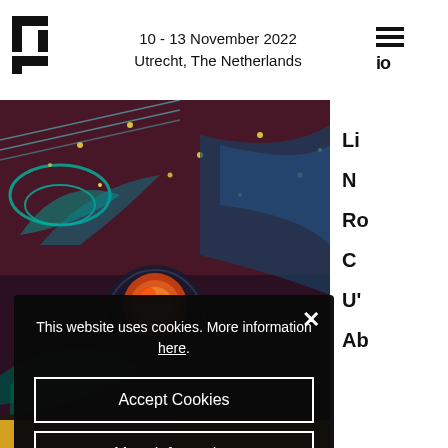[Figure (logo): White square background with bold black question mark / P-like logo symbol]
10 - 13 November 2022
Utrecht, The Netherlands
[Figure (illustration): Hamburger menu icon (three horizontal lines) with partial navigation letters cut off at right edge]
[Figure (photo): Dark artistic photo with cosmic/psychedelic art featuring a glowing orb helmet and colorful neon plant-like elements against a dark starry background]
Li
N
Ro
C
U'
Ab
This website uses cookies. More information here.
Accept Cookies
More information